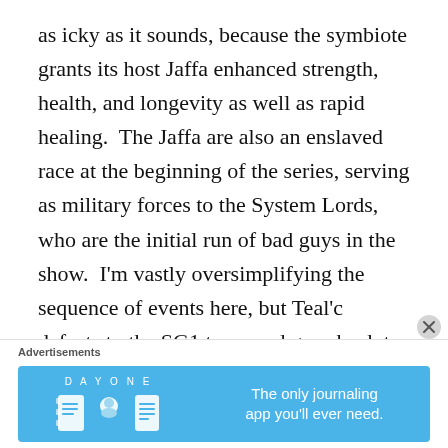as icky as it sounds, because the symbiote grants its host Jaffa enhanced strength, health, and longevity as well as rapid healing.  The Jaffa are also an enslaved race at the beginning of the series, serving as military forces to the System Lords, who are the initial run of bad guys in the show.  I'm vastly oversimplifying the sequence of events here, but Teal'c defects to the SG1 team and goes back to Earth in the pilot episode of the series.    He becomes a valuable member of the team, and he even tries to live outside of Stargate Command in a regular apartment at one point in the series.  Naturally, he wears a hat to cover up the gold
Advertisements
[Figure (illustration): Day One journaling app advertisement banner with blue background, logo icons (notebook, person, document), and text 'The only journaling app you'll ever need.']